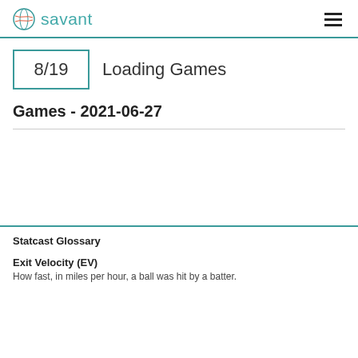savant
8/19  Loading Games
Games - 2021-06-27
Statcast Glossary
Exit Velocity (EV)
How fast, in miles per hour, a ball was hit by a batter.